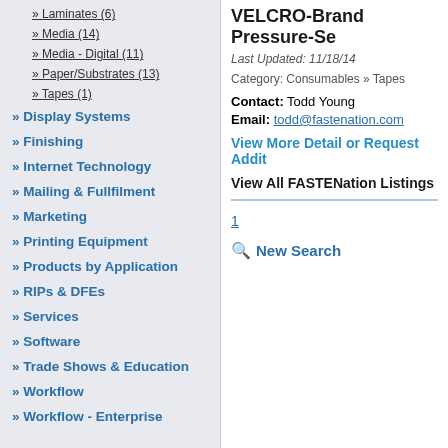» Laminates (6)
» Media (14)
» Media - Digital (11)
» Paper/Substrates (13)
» Tapes (1)
» Display Systems
» Finishing
» Internet Technology
» Mailing & Fullfilment
» Marketing
» Printing Equipment
» Products by Application
» RIPs & DFEs
» Services
» Software
» Trade Shows & Education
» Workflow
» Workflow - Enterprise
VELCRO-Brand Pressure-Se
Last Updated: 11/18/14
Category: Consumables » Tapes
Contact: Todd Young
Email: todd@fastenation.com
View More Detail or Request Addit
View All FASTENation Listings
1
New Search